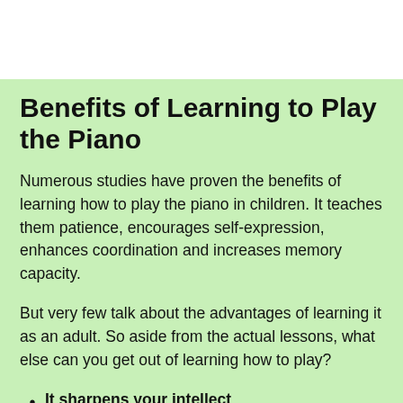Benefits of Learning to Play the Piano
Numerous studies have proven the benefits of learning how to play the piano in children. It teaches them patience, encourages self-expression, enhances coordination and increases memory capacity.
But very few talk about the advantages of learning it as an adult. So aside from the actual lessons, what else can you get out of learning how to play?
It sharpens your intellect
Learning how to play the piano activates that part in your brain...